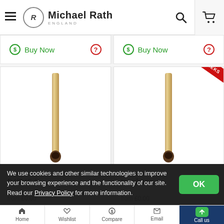Michael Rath England — navigation header with logo, search, and cart icons
[Figure (screenshot): Two trombone mouthpiece tube products displayed in white product cards, left one without badge, right one with red diagonal 'UP TO 4 WEEKS' banner]
R4/R4F 4
trombone
We use cookies and other similar technologies to improve your browsing experience and the functionality of our site. Read our Privacy Policy for more information.
Home | Wishlist | Compare | Email | Call us